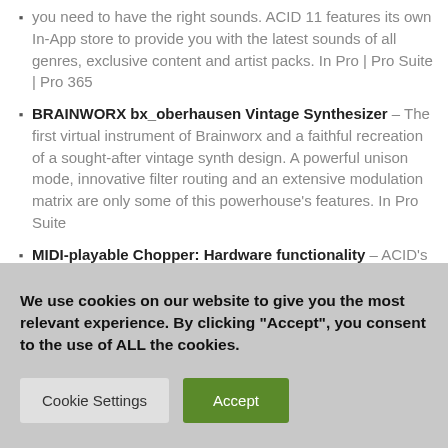you need to have the right sounds. ACID 11 features its own In-App store to provide you with the latest sounds of all genres, exclusive content and artist packs. In Pro | Pro Suite | Pro 365
BRAINWORX bx_oberhausen Vintage Synthesizer – The first virtual instrument of Brainworx and a faithful recreation of a sought-after vintage synth design. A powerful unison mode, innovative filter routing and an extensive modulation matrix are only some of this powerhouse's features. In Pro Suite
MIDI-playable Chopper: Hardware functionality – ACID's much beloved chopper feature is extended by useful hardware compatibility. Trigger your chopped slices with a
We use cookies on our website to give you the most relevant experience. By clicking "Accept", you consent to the use of ALL the cookies.